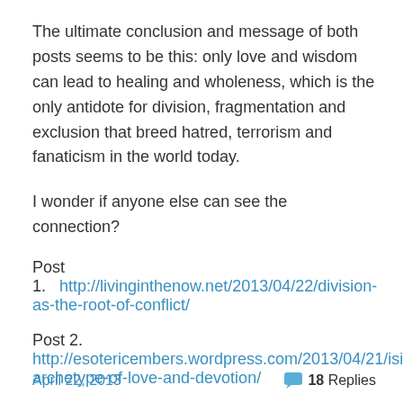The ultimate conclusion and message of both posts seems to be this: only love and wisdom can lead to healing and wholeness, which is the only antidote for division, fragmentation and exclusion that breed hatred, terrorism and fanaticism in the world today.
I wonder if anyone else can see the connection?
Post 1.    http://livinginthenow.net/2013/04/22/division-as-the-root-of-conflict/
Post 2.
http://esotericembers.wordpress.com/2013/04/21/isis-archetype-of-love-and-devotion/
April 22, 2013    18 Replies